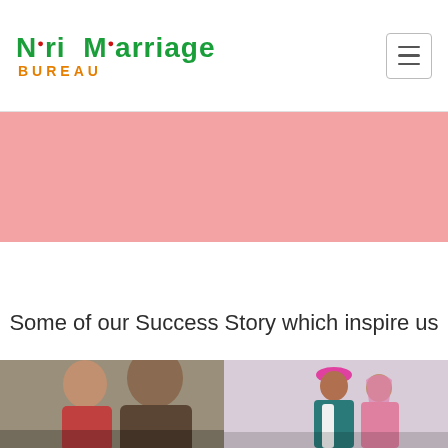NRI Marriage Bureau - navigation header with hamburger menu
[Figure (photo): Pink/salmon colored banner image area below header]
Some of our Success Story which inspire us
[Figure (photo): Two couple photos side by side: left shows two people taking a selfie, right shows a Sikh groom in pink turban and teal sherwani with bride in pink outfit]